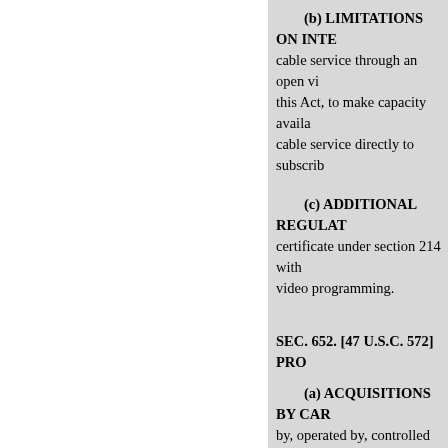(b) LIMITATIONS ON INTE... cable service through an open vi... this Act, to make capacity availa... cable service directly to subscrib...
(c) ADDITIONAL REGULAT... certificate under section 214 with... video programming.
SEC. 652. [47 U.S.C. 572] PRO...
(a) ACQUISITIONS BY CAR... by, operated by, controlled by, or... acquire directly or indirectly mo... cable operator providing cable se...
(b) ACQUISITIONS BY CAB... owned by, operated by, controlle... or otherwise acquire, directly or... interest, in any local exchange ca... franchise area.
(c) JOINT VENTURES.-A loc...